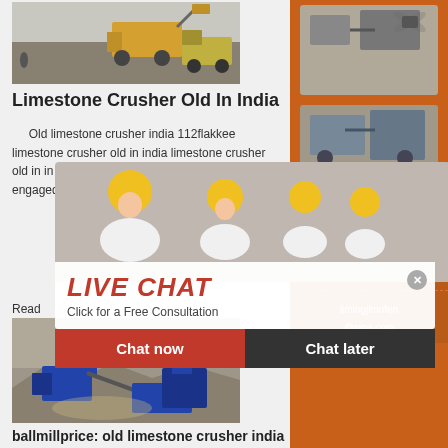[Figure (photo): Limestone crusher mining site with heavy equipment and loader]
Limestone Crusher Old In India
Old limestone crusher india 112flakkee limestone crusher old in india limestone crusher old in india thorough industry knowledge we are engaged manu crush mach neede
[Figure (photo): Mining site with blue mobile crushers and machinery on rocky terrain]
[Figure (photo): Sidebar: mining/crushing machine equipment]
Enjoy 3% discount
Click to Chat
Enquiry
limingjlmofen@sina.com
[Figure (photo): Live Chat overlay with worker in hard hat and colleagues in background, Chat now and Chat later buttons]
ballmillprice: old limestone crusher india